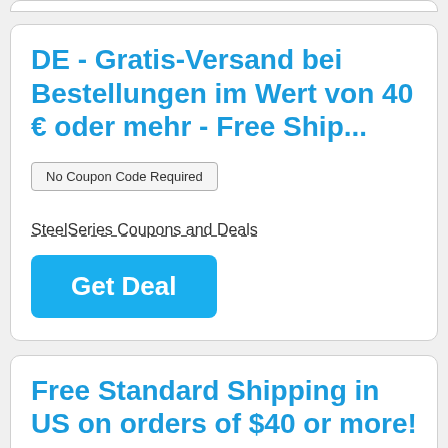DE - Gratis-Versand bei Bestellungen im Wert von 40 € oder mehr - Free Ship...
No Coupon Code Required
SteelSeries Coupons and Deals
Get Deal
Free Standard Shipping in US on orders of $40 or more!
No Coupon Code Required